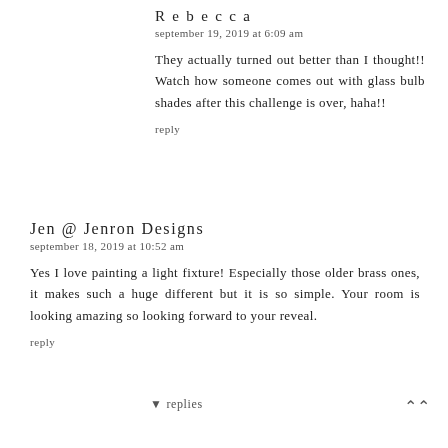Rebecca
september 19, 2019 at 6:09 am
They actually turned out better than I thought!! Watch how someone comes out with glass bulb shades after this challenge is over, haha!!
reply
Jen @ Jenron Designs
september 18, 2019 at 10:52 am
Yes I love painting a light fixture! Especially those older brass ones, it makes such a huge different but it is so simple. Your room is looking amazing so looking forward to your reveal.
reply
▾ replies